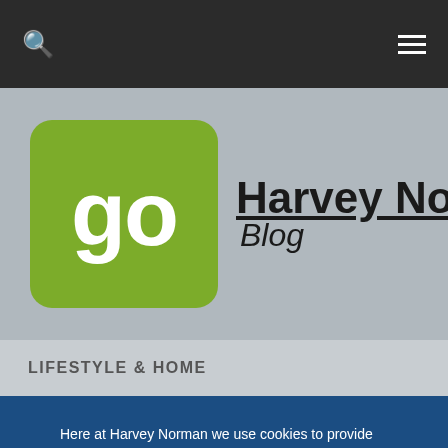Harvey Norman Blog - navigation bar with search and menu icons
[Figure (logo): Go Harvey Norman Blog logo - green rounded square with 'go' text and Harvey Norman Blog brand name]
LIFESTYLE & HOME
Here at Harvey Norman we use cookies to provide you with the best possible experience on our website. By clicking "Accept All Cookies", you agree to the storing of cookies on your device to enhance site navigation, analyze site usage, and assist in our marketing efforts. Privacy & Cookie Policy
Cookies Settings
Reject All